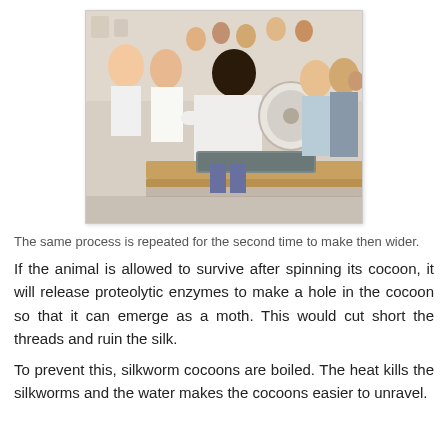[Figure (photo): A person in a white shirt operating a silk reeling machine at a workbench, with a group of onlookers watching the demonstration in what appears to be a silk workshop or factory.]
The same process is repeated for the second time to make then wider.
If the animal is allowed to survive after spinning its cocoon, it will release proteolytic enzymes to make a hole in the cocoon so that it can emerge as a moth. This would cut short the threads and ruin the silk.
To prevent this, silkworm cocoons are boiled. The heat kills the silkworms and the water makes the cocoons easier to unravel.